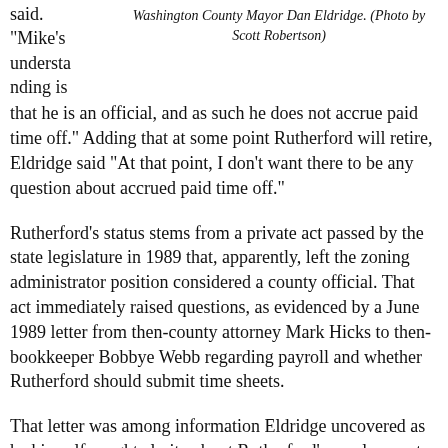said. “Mike’s understanding is
[Figure (photo): Photo of Washington County Mayor Dan Eldridge]
Washington County Mayor Dan Eldridge. (Photo by Scott Robertson)
that he is an official, and as such he does not accrue paid time off.” Adding that at some point Rutherford will retire, Eldridge said “At that point, I don’t want there to be any question about accrued paid time off.”
Rutherford’s status stems from a private act passed by the state legislature in 1989 that, apparently, left the zoning administrator position considered a county official. That act immediately raised questions, as evidenced by a June 1989 letter from then-county attorney Mark Hicks to then-bookkeeper Bobbye Webb regarding payroll and whether Rutherford should submit time sheets.
That letter was among information Eldridge uncovered as he himself sought clarity about Rutherford’s employment arrangement after Eldridge took office in 2010. In it, Hicks stated